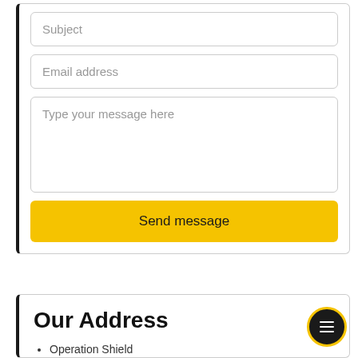Subject
Email address
Type your message here
Send message
Our Address
Operation Shield
Range Coyote Arms Shooting Center